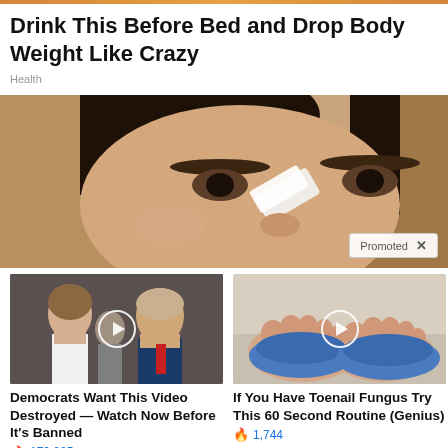Drink This Before Bed and Drop Body Weight Like Crazy
Health
[Figure (photo): Close-up photo of a woman applying something white (cream or cotton pad) near her eye area]
Promoted X
[Figure (photo): Photo of a man and woman at what appears to be a public event, with a play button overlay]
Democrats Want This Video Destroyed — Watch Now Before It's Banned
179,035
[Figure (photo): Photo of feet wearing blue slippers/socks, toes visible, with a play button overlay]
If You Have Toenail Fungus Try This 60 Second Routine (Genius)
1,744